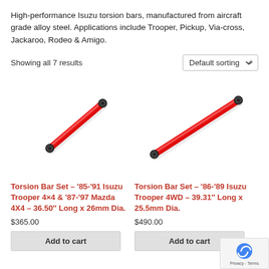High-performance Isuzu torsion bars, manufactured from aircraft grade alloy steel. Applications include Trooper, Pickup, Via-cross, Jackaroo, Rodeo & Amigo.
Showing all 7 results
[Figure (screenshot): Dropdown selector showing 'Default sorting' with chevron icon]
[Figure (photo): Red torsion bar with black metal end caps, diagonal orientation, left product]
[Figure (photo): Red torsion bar with black metal end caps, diagonal orientation, right product]
Torsion Bar Set – '85-'91 Isuzu Trooper 4×4 & '87-'97 Mazda 4X4 – 36.50″ Long x 26mm Dia.
Torsion Bar Set – '86-'89 Isuzu Trooper 4WD – 39.31″ Long x 25.5mm Dia.
$365.00
$490.00
Add to cart
Add to cart